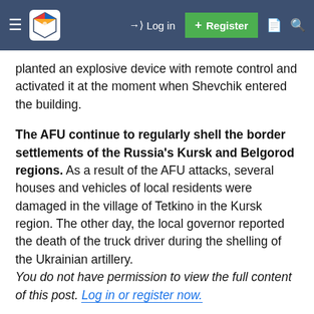Navigation bar with logo, Log in, Register, and search icons
planted an explosive device with remote control and activated it at the moment when Shevchik entered the building.
The AFU continue to regularly shell the border settlements of the Russia's Kursk and Belgorod regions. As a result of the AFU attacks, several houses and vehicles of local residents were damaged in the village of Tetkino in the Kursk region. The other day, the local governor reported the death of the truck driver during the shelling of the Ukrainian artillery. You do not have permission to view the full content of this post. Log in or register now.
Fighting in the city of Mariupol ended. Heavy military equipment of the People's Militia of the DPR is transfered